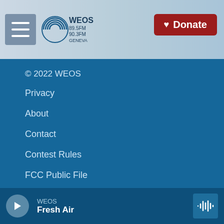[Figure (logo): WEOS 89.5FM 90.3FM Geneva radio station logo with circular wave graphic]
[Figure (screenshot): Red Donate button with heart icon in top right of header]
© 2022 WEOS
Privacy
About
Contact
Contest Rules
FCC Public File
WXXI Public Media
W212BA Notice of Renewal Filing
WEOS
Fresh Air